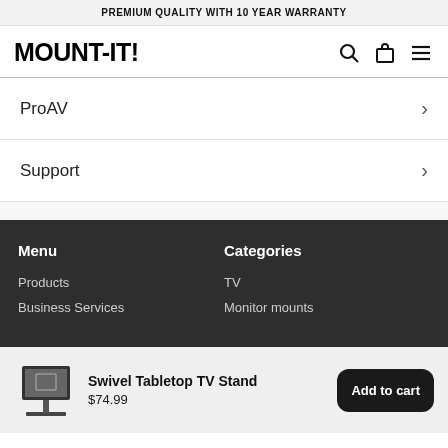PREMIUM QUALITY WITH 10 YEAR WARRANTY
MOUNT-IT!
ProAV
Support
Menu
Categories
Products
TV
Business Services
Monitor mounts
Swivel Tabletop TV Stand
$74.99
Add to cart